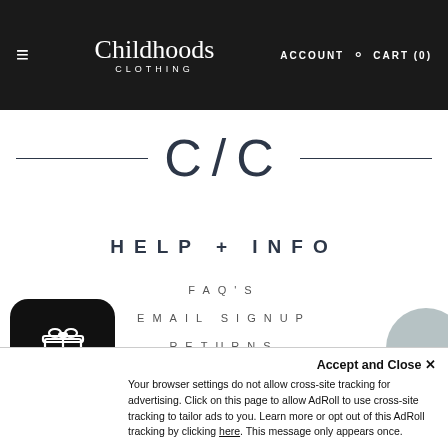≡  Childhoods CLOTHING  ACCOUNT  🔍  CART (0)
C/C
HELP + INFO
FAQ'S
EMAIL SIGNUP
RETURNS
CLUB COZY
Accept and Close ×
Your browser settings do not allow cross-site tracking for advertising. Click on this page to allow AdRoll to use cross-site tracking to tailor ads to you. Learn more or opt out of this AdRoll tracking by clicking here. This message only appears once.